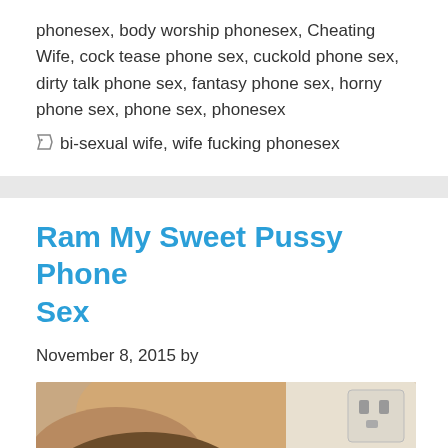phonesex, body worship phonesex, Cheating Wife, cock tease phone sex, cuckold phone sex, dirty talk phone sex, fantasy phone sex, horny phone sex, phone sex, phonesex
bi-sexual wife, wife fucking phonesex
Ram My Sweet Pussy Phone Sex
November 8, 2015 by
[Figure (photo): Partial photo of a person with brown hair, arm raised, with a wall outlet visible in the upper right corner.]